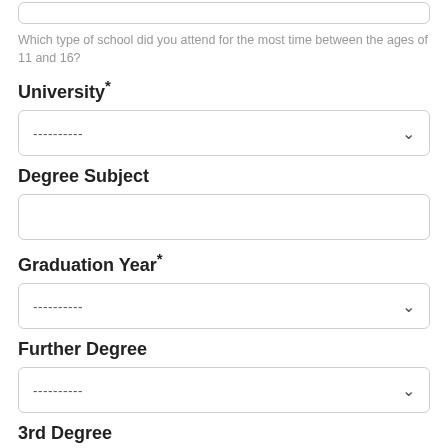Which type of school did you attend for the most time between the ages of 11 and 16?
University*
----------
Degree Subject
Graduation Year*
----------
Further Degree
----------
3rd Degree